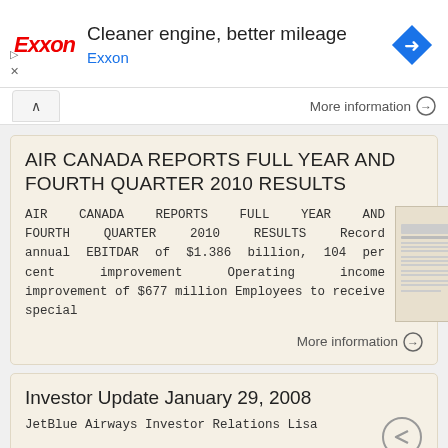[Figure (infographic): Exxon advertisement banner with red Exxon logo, headline 'Cleaner engine, better mileage', blue navigation arrow diamond icon on the right]
More information →
AIR CANADA REPORTS FULL YEAR AND FOURTH QUARTER 2010 RESULTS
AIR CANADA REPORTS FULL YEAR AND FOURTH QUARTER 2010 RESULTS Record annual EBITDAR of $1.386 billion, 104 per cent improvement Operating income improvement of $677 million Employees to receive special
More information →
Investor Update January 29, 2008
JetBlue Airways Investor Relations Lisa